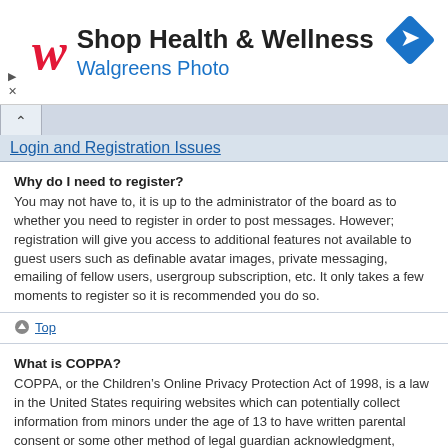[Figure (screenshot): Walgreens advertisement banner with red cursive W logo, 'Shop Health & Wellness' title, 'Walgreens Photo' subtitle in blue, and a blue diamond navigation icon on the right. Small play and close controls on the lower left.]
Login and Registration Issues
Why do I need to register?
You may not have to, it is up to the administrator of the board as to whether you need to register in order to post messages. However; registration will give you access to additional features not available to guest users such as definable avatar images, private messaging, emailing of fellow users, usergroup subscription, etc. It only takes a few moments to register so it is recommended you do so.
Top
What is COPPA?
COPPA, or the Children’s Online Privacy Protection Act of 1998, is a law in the United States requiring websites which can potentially collect information from minors under the age of 13 to have written parental consent or some other method of legal guardian acknowledgment, allowing the collection of personally identifiable information from a minor under the age of 13. If you are unsure if this applies to you as someone trying to register or to the website you are trying to register on, contact legal counsel for assistance. Please note that phpBB Limited